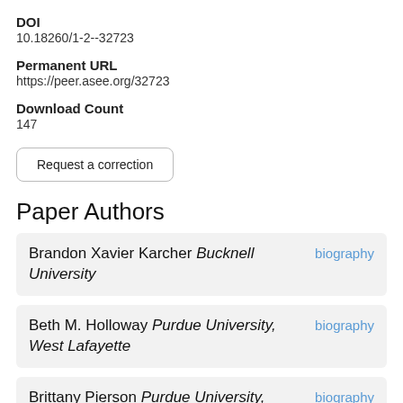DOI
10.18260/1-2--32723
Permanent URL
https://peer.asee.org/32723
Download Count
147
Request a correction
Paper Authors
Brandon Xavier Karcher Bucknell University biography
Beth M. Holloway Purdue University, West Lafayette biography
Brittany Pierson Purdue University, West Lafayette biography